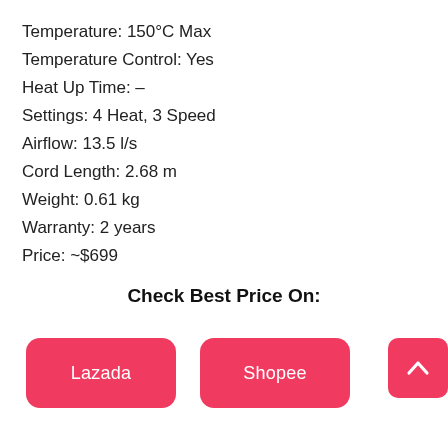Temperature: 150°C Max
Temperature Control: Yes
Heat Up Time: –
Settings: 4 Heat, 3 Speed
Airflow: 13.5 l/s
Cord Length: 2.68 m
Weight: 0.61 kg
Warranty: 2 years
Price: ~$699
Check Best Price On:
Lazada
Shopee